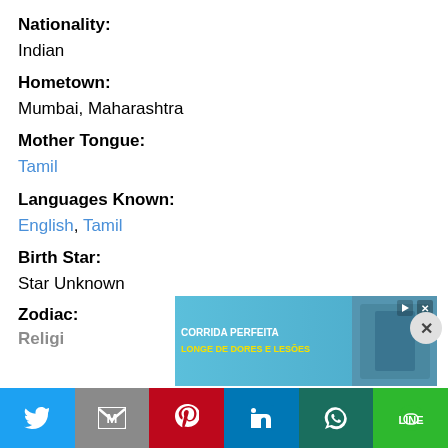Nationality:
Indian
Hometown:
Mumbai, Maharashtra
Mother Tongue:
Tamil
Languages Known:
English, Tamil
Birth Star:
Star Unknown
Zodiac:
Religi…
[Figure (screenshot): Advertisement banner: CORRIDA PERFEITA LONGE DE DORES E LESÕES with blue background and person running]
[Figure (infographic): Social media sharing buttons: Twitter, Gmail, Pinterest, LinkedIn, WhatsApp, Line]